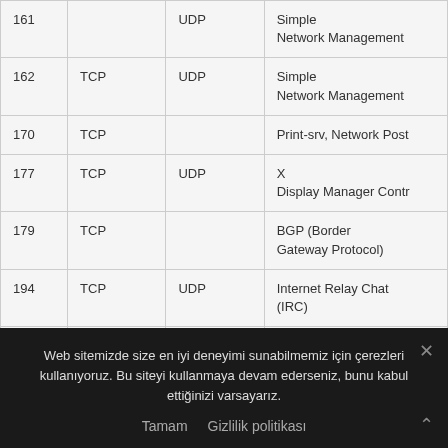| Port | TCP | UDP | Description |
| --- | --- | --- | --- |
| 161 |  | UDP | Simple Network Management |
| 162 | TCP | UDP | Simple Network Management |
| 170 | TCP |  | Print-srv, Network Post |
| 177 | TCP | UDP | X Display Manager Contr |
| 179 | TCP |  | BGP (Border Gateway Protocol) |
| 194 | TCP | UDP | Internet Relay Chat (IRC) |
| 199 | TCP | UDP | SMUX, SNMP Unix Multiplex |
Web sitemizde size en iyi deneyimi sunabilmemiz için çerezleri kullanıyoruz. Bu siteyi kullanmaya devam ederseniz, bunu kabul ettiğinizi varsayarız.
Tamam   Gizlilik politikası